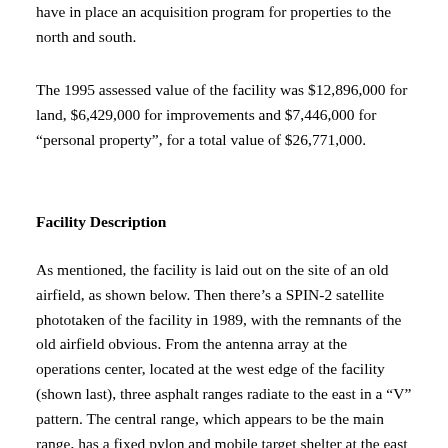have in place an acquisition program for properties to the north and south.
The 1995 assessed value of the facility was $12,896,000 for land, $6,429,000 for improvements and $7,446,000 for “personal property”, for a total value of $26,771,000.
Facility Description
As mentioned, the facility is laid out on the site of an old airfield, as shown below. Then there’s a SPIN-2 satellite phototaken of the facility in 1989, with the remnants of the old airfield obvious. From the antenna array at the operations center, located at the west edge of the facility (shown last), three asphalt ranges radiate to the east in a “V” pattern. The central range, which appears to be the main range, has a fixed pylon and mobile target shelter at the east end.